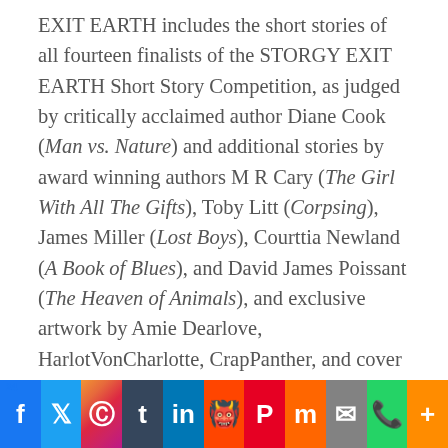EXIT EARTH includes the short stories of all fourteen finalists of the STORGY EXIT EARTH Short Story Competition, as judged by critically acclaimed author Diane Cook (Man vs. Nature) and additional stories by award winning authors M R Cary (The Girl With All The Gifts), Toby Litt (Corpsing), James Miller (Lost Boys), Courttia Newland (A Book of Blues), and David James Poissant (The Heaven of Animals), and exclusive artwork by Amie Dearlove, HarlotVonCharlotte, CrapPanther, and cover design by Rob
24 | Facebook | Twitter | Instagram | Tumblr | LinkedIn | Reddit | Pinterest | Mix | Email | WhatsApp | More